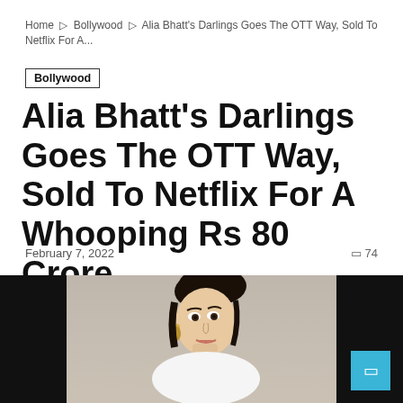Home » Bollywood » Alia Bhatt’s Darlings Goes The OTT Way, Sold To Netflix For A...
Bollywood
Alia Bhatt’s Darlings Goes The OTT Way, Sold To Netflix For A Whooping Rs 80 Crore
February 7, 2022   □ 74
[Figure (photo): Photo of Alia Bhatt in a white outfit, looking over her shoulder, with dark background on sides]